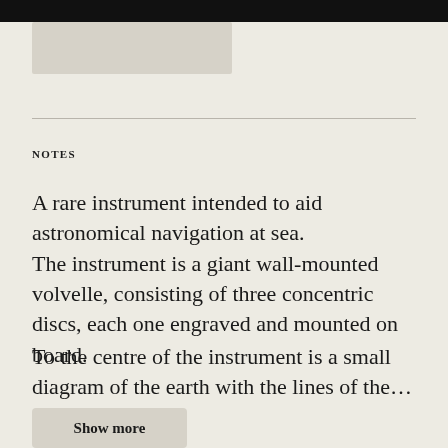[Figure (other): Top navigation bar image placeholder (greyed rectangle)]
NOTES
A rare instrument intended to aid astronomical navigation at sea. The instrument is a giant wall-mounted volvelle, consisting of three concentric discs, each one engraved and mounted on board.
To the centre of the instrument is a small diagram of the earth with the lines of the…
Show more